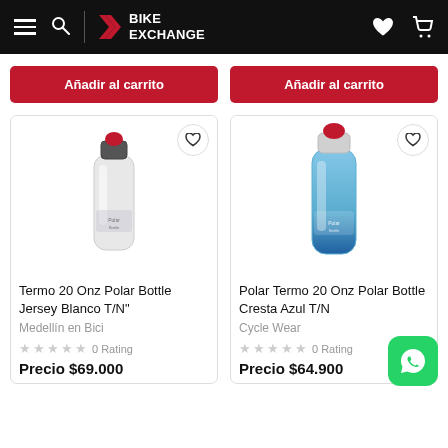BikeExchange navigation bar with menu, search, logo, wishlist and cart icons
Añadir al carrito
Añadir al carrito
[Figure (photo): Polar Bottle white/grey insulated water bottle with black cap and red nozzle]
[Figure (photo): Polar Bottle blue insulated water bottle with red nozzle]
Termo 20 Onz Polar Bottle Jersey Blanco T/N"
Polar Termo 20 Onz Polar Bottle Cresta Azul T/N
Medellín en Bici
Cycle Wear
0 Rating
0 Rating
Precio $69.000
Precio $64.900